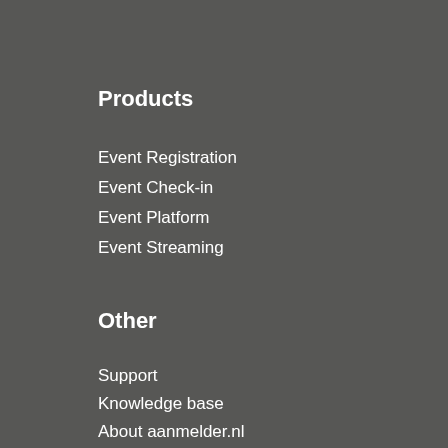Products
Event Registration
Event Check-in
Event Platform
Event Streaming
Other
Support
Knowledge base
About aanmelder.nl
Career
News